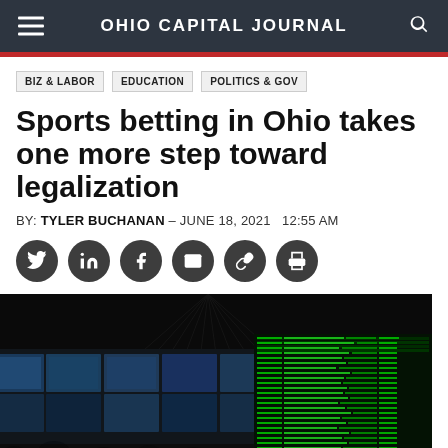OHIO CAPITAL JOURNAL
BIZ & LABOR
EDUCATION
POLITICS & GOV
Sports betting in Ohio takes one more step toward legalization
BY: TYLER BUCHANAN - JUNE 18, 2021   12:55 AM
[Figure (photo): Interior of a sports betting facility with large TV screens showing various sports broadcasts and a curved wall of digital betting boards displaying green odds/scores, viewed from behind patrons at a bar.]